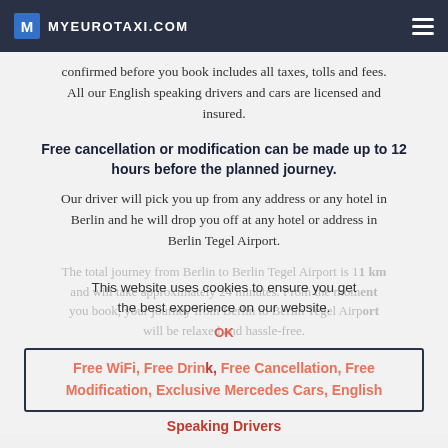MYEUROTAXI.COM
confirmed before you book includes all taxes, tolls and fees. All our English speaking drivers and cars are licensed and insured.
Free cancellation or modification can be made up to 12 hours before the planned journey.
Our driver will pick you up from any address or any hotel in Berlin and he will drop you off at any hotel or address in Berlin Tegel Airport.
The total journey from Berlin to Berlin Tegel Airport is 11 km and will take approximately 24 minutes. From the moment you book, your journey from Berlin to Berlin Tegel Airport will be relaxed and hassle-free.
This website uses cookies to ensure you get the best experience on our website.
Free WiFi, Free Drink, Free Cancellation, Free Modification, Exclusive Mercedes Cars, English Speaking Drivers